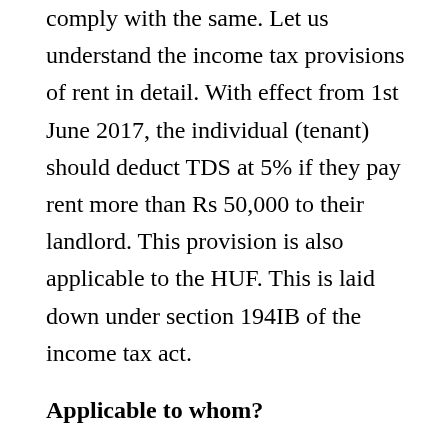comply with the same. Let us understand the income tax provisions of rent in detail. With effect from 1st June 2017, the individual (tenant) should deduct TDS at 5% if they pay rent more than Rs 50,000 to their landlord. This provision is also applicable to the HUF. This is laid down under section 194IB of the income tax act.
Applicable to whom?
Every individual paying monthly rent above Rs 50,000 to the landlord should deduct TDS on rent. This is specified under Section 194IB of the Income Tax Act. This section is also applicable to HUF, which pays rent above Rs 50,000 to the landlord.